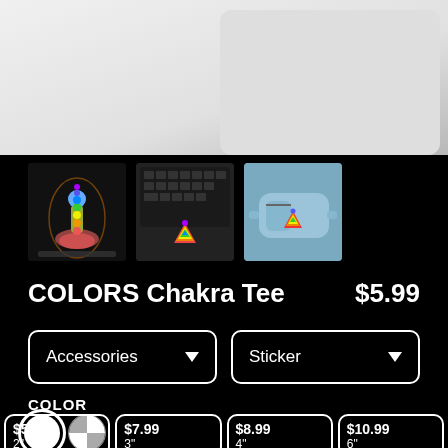[Figure (photo): Top portion of a laptop computer, showing the silver/white body and corner, on a white background]
[Figure (photo): Thumbnail 1: Chakra meditation figure with rainbow colors]
[Figure (photo): Thumbnail 2: Sticker on laptop keyboard showing chakra triangle logo]
[Figure (photo): Thumbnail 3: Light blue fanny pack with chakra triangle sticker]
COLORS Chakra Tee   $5.99
Accessories (dropdown)   Sticker (dropdown)
COLOR
Color swatches: white (selected), checker/transparent
| Price | Size |
| --- | --- |
| $5.99 | 2" |
| $7.99 | 3" |
| $8.99 | 4" |
| $10.99 | 6" |